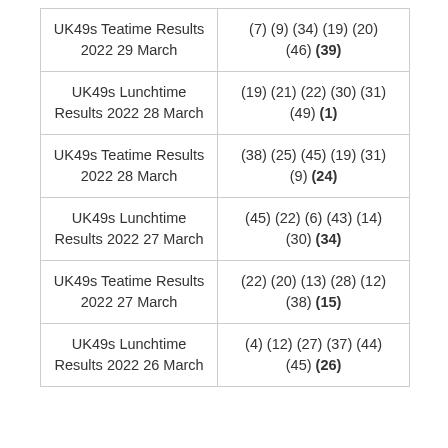| Draw | Results |
| --- | --- |
| UK49s Teatime Results 2022 29 March | (7) (9) (34) (19) (20) (46) (39) |
| UK49s Lunchtime Results 2022 28 March | (19) (21) (22) (30) (31) (49) (1) |
| UK49s Teatime Results 2022 28 March | (38) (25) (45) (19) (31) (9) (24) |
| UK49s Lunchtime Results 2022 27 March | (45) (22) (6) (43) (14) (30) (34) |
| UK49s Teatime Results 2022 27 March | (22) (20) (13) (28) (12) (38) (15) |
| UK49s Lunchtime Results 2022 26 March | (4) (12) (27) (37) (44) (45) (26) |